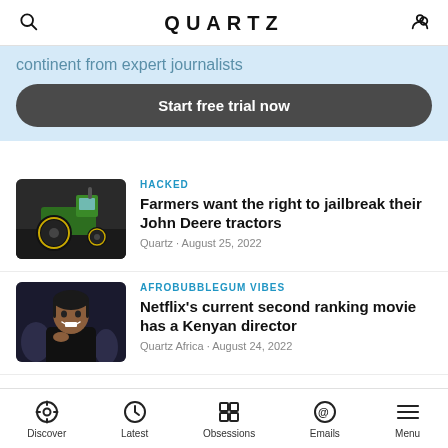QUARTZ
continent from expert journalists
Start free trial now
HACKED
Farmers want the right to jailbreak their John Deere tractors
Quartz · August 25, 2022
AFROBUBBLEGUM VIBES
Netflix's current second ranking movie has a Kenyan director
Quartz Africa · August 24, 2022
Discover  Latest  Obsessions  Emails  Menu